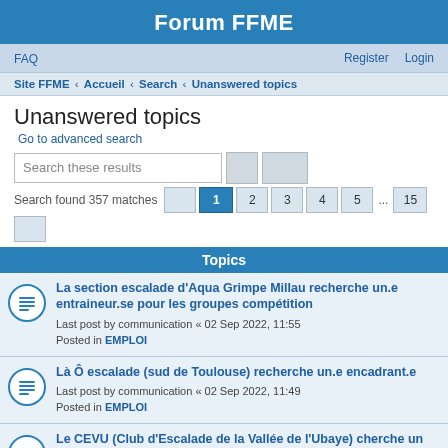Forum FFME
FAQ   Register   Login
Site FFME › Accueil › Search › Unanswered topics
Unanswered topics
Go to advanced search
Search these results
Search found 357 matches  1 2 3 4 5 ... 15
Topics
La section escalade d'Aqua Grimpe Millau recherche un.e entraineur.se pour les groupes compétition
Last post by communication « 02 Sep 2022, 11:55
Posted in EMPLOI
Là Ô escalade (sud de Toulouse) recherche un.e encadrant.e
Last post by communication « 02 Sep 2022, 11:49
Posted in EMPLOI
Le CEVU (Club d'Escalade de la Vallée de l'Ubaye) cherche un nouveau moniteur pour la rentrée de septembre !
Last post by communication « 01 Sep 2022, 11:43
Posted in EMPLOI